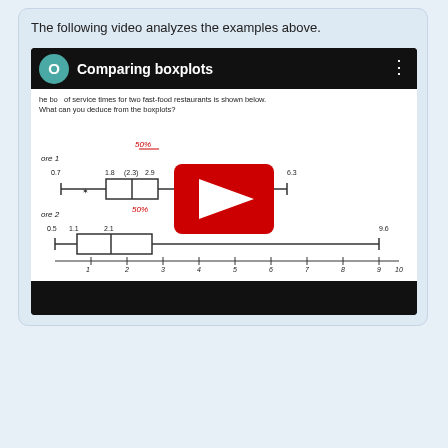The following video analyzes the examples above.
[Figure (screenshot): YouTube video thumbnail showing 'Comparing boxplots' with a boxplot diagram comparing service times for two fast-food restaurants. Store 1 has values 0.7, 1.8, 2.3, 2.9, 6.3 with 50% annotation. Store 2 has values 0.5, 1.1, 2.1, 5.7, 9.6 with 50% annotation. X-axis labeled 'Service time (minutes)' from 1 to 10.]